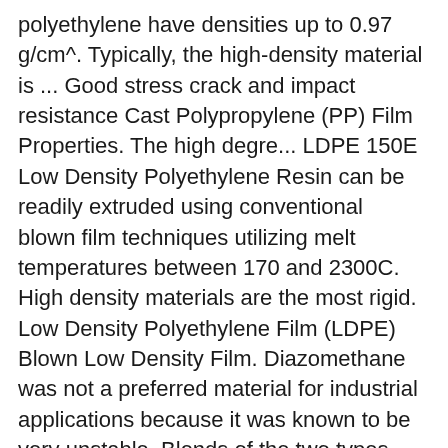polyethylene have densities up to 0.97 g/cm^. Typically, the high-density material is ... Good stress crack and impact resistance Cast Polypropylene (PP) Film Properties. The high degre... LDPE 150E Low Density Polyethylene Resin can be readily extruded using conventional blown film techniques utilizing melt temperatures between 170 and 2300C. High density materials are the most rigid. Low Density Polyethylene Film (LDPE) Blown Low Density Film. Diazomethane was not a preferred material for industrial applications because it was known to be very unstable. Blends of the two types are common. Flammable. Cast Low Density Film. We stock and supply the following standard forms: Fibre: Film: Granule: ... Properties for Polyethylene - Low Density Film. As the chains become more linear, such as in high density polyethylene (HDPE), the molecules are able to pack more closely. Low Density Polyethylene (LDPE) LDPE (Low Density Polyethylene), also known as a polyolefin material,